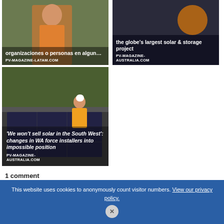[Figure (photo): Card with person photo on orange/green background, Spanish text overlay about organizations or persons]
[Figure (photo): Card with dark background, text about globe's largest solar & storage project]
[Figure (photo): Large card with person installing solar on roof, text: 'We won't sell solar in the South West': changes in WA force installers into impossible position]
1 comment
Pingback: India's Solar Capacity Quadruples In 3 Years To 10 Gigawatts | CleanTechnica
This website uses cookies to anonymously count visitor numbers. View our privacy policy.